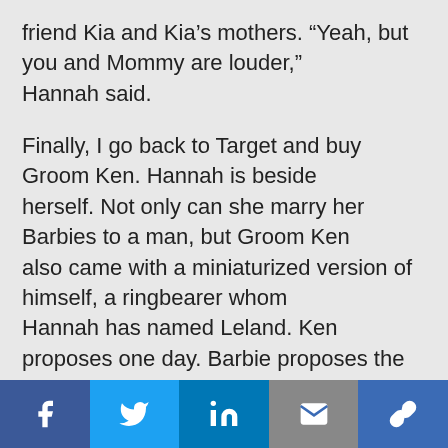friend Kia and Kia’s mothers. “Yeah, but you and Mommy are louder,” Hannah said.
Finally, I go back to Target and buy Groom Ken. Hannah is beside herself. Not only can she marry her Barbies to a man, but Groom Ken also came with a miniaturized version of himself, a ringbearer whom Hannah has named Leland. Ken proposes one day. Barbie proposes the next. They kiss, they dance, they get married again. We’re living in the Chapel of Love, right here in Golden Valley.
Social share bar: Facebook, Twitter, LinkedIn, Email, Link